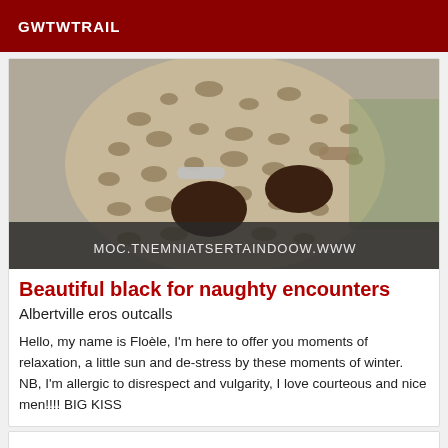GWTWTRAIL
[Figure (photo): Photo of a person in a leopard print dress with hands behind their back, wearing bracelets. Text overlay at bottom reads: www.woodnitesertainment.com (mirrored)]
Beautiful black for naughty encounters
Albertville eros outcalls
Hello, my name is Floèle, I'm here to offer you moments of relaxation, a little sun and de-stress by these moments of winter. NB, I'm allergic to disrespect and vulgarity, I love courteous and nice men!!!! BIG KISS